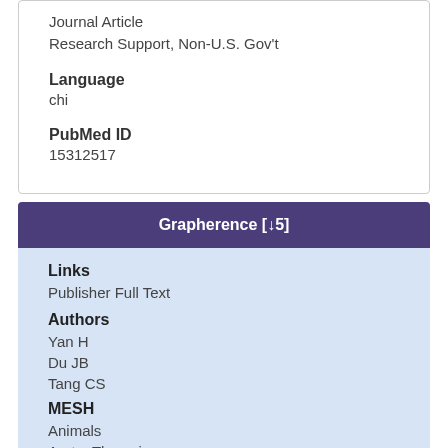Journal Article
Research Support, Non-U.S. Gov't
Language
chi
PubMed ID
15312517
Grapherence [↓5]
Links
Publisher Full Text
Authors
Yan H
Du JB
Tang CS
MESH
Animals
Aorta, Thoracis